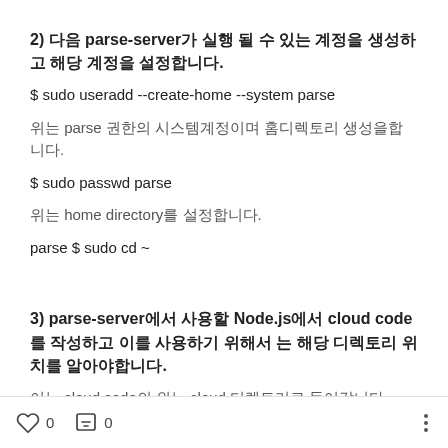2) 다음 parse-server가 실행 될 수 있는 계정을 생성하고 해당 계정을 설정합니다.
$ sudo useradd --create-home --system parse
위는 parse 권한의 시스템계정이며 홈디렉토리 생성을합니다.
$ sudo passwd parse
위는 home directory를 설정합니다.
parse $ sudo cd ~
3) parse-server에서 사용할 Node.js에서 cloud code를 작성하고 이를 사용하기 위해서는 해당 디렉토리 위치를 알아야합니다.
이는 cloud code의 위는 cloud 디렉토리로 들어갑니다.
0  0